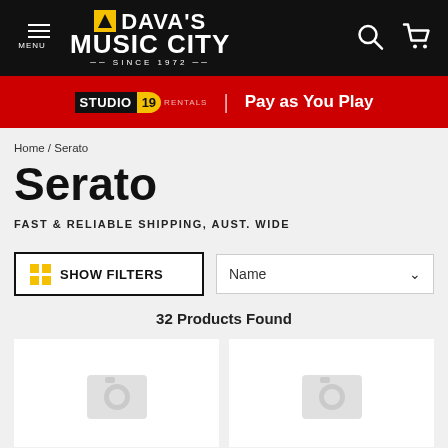DAVA'S MUSIC CITY — SINCE 1972 | MENU
STUDIO19 RENTALS | Pay as You Play
Home / Serato
Serato
FAST & RELIABLE SHIPPING, AUST. WIDE
SHOW FILTERS | Name
32 Products Found
[Figure (other): Two product placeholder cards with camera icons indicating no image loaded]
[Figure (other): Second product placeholder card with camera icon]